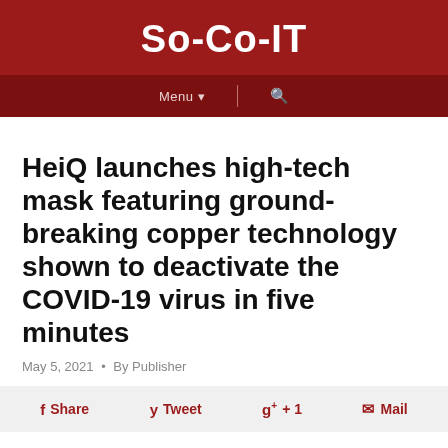So-Co-IT
HeiQ launches high-tech mask featuring ground-breaking copper technology shown to deactivate the COVID-19 virus in five minutes
May 5, 2021 • By Publisher
f Share   y Tweet   g+ +1   ✉ Mail
Global leader in textile and materials innovation, HeiQ, launches HeiQ MetalliQ, a futuristic-looking, high-tech